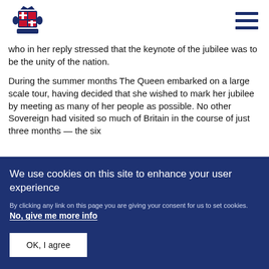[Royal Coat of Arms logo] [Hamburger menu]
who in her reply stressed that the keynote of the jubilee was to be the unity of the nation.
During the summer months The Queen embarked on a large scale tour, having decided that she wished to mark her jubilee by meeting as many of her people as possible. No other Sovereign had visited so much of Britain in the course of just three months — the six
We use cookies on this site to enhance your user experience
By clicking any link on this page you are giving your consent for us to set cookies. No, give me more info
OK, I agree